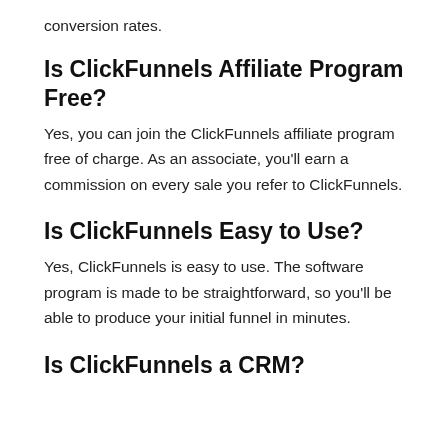conversion rates.
Is ClickFunnels Affiliate Program Free?
Yes, you can join the ClickFunnels affiliate program free of charge. As an associate, you'll earn a commission on every sale you refer to ClickFunnels.
Is ClickFunnels Easy to Use?
Yes, ClickFunnels is easy to use. The software program is made to be straightforward, so you'll be able to produce your initial funnel in minutes.
Is ClickFunnels a CRM?